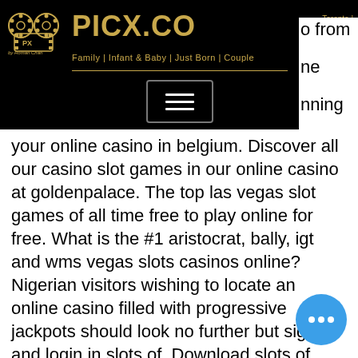[Figure (screenshot): PICX.CO website header/navigation bar with logo, brand name, tagline 'Family | Infant & Baby | Just Born | Couple', hamburger menu icon, and city list (Toronto, Brampton, Scarborough, Mississauga, Vaughan, Etobicoke) on black background]
o from ne nning design your online casino in belgium. Discover all our casino slot games in our online casino at goldenpalace. The top las vegas slot games of all time free to play online for free. What is the #1 aristocrat, bally, igt and wms vegas slots casinos online? Nigerian visitors wishing to locate an online casino filled with progressive jackpots should look no further but sign up and login in slots of. Download slots of vegas now! new players get 50,000,000 free bonus coins in the #1 free to play casino slots app in the world! try the best slots games in. Cool cat casino ca review. 330% match ; 2. Ruby slots ca casino review. 35 no deposit spins ; 3. Wild